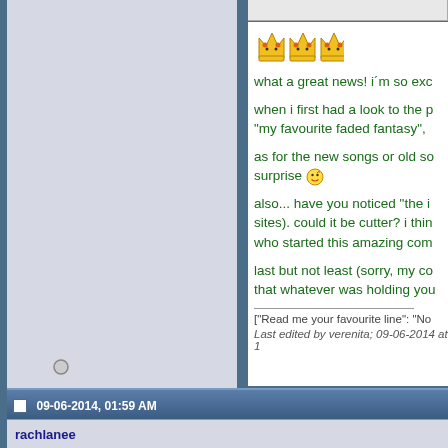[Figure (illustration): Three yellow crown/cat emoji icons in a row]
what a great news! i´m so exc...
when i first had a look to the p... "my favourite faded fantasy",
as for the new songs or old so... surprise [smiley face]
also... have you noticed "the i... sites). could it be cutter? i thin... who started this amazing com...
last but not least (sorry, my co... that whatever was holding you...
["Read me your favourite line": "No...
Last edited by verenita; 09-06-2014 at 1...
09-06-2014, 01:59 AM
rachlanee